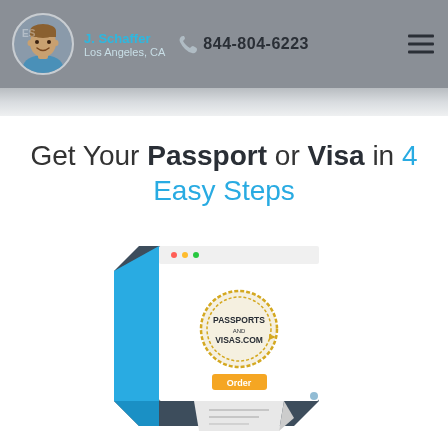J. Schaffer | Los Angeles, CA | 844-804-6223
Get Your Passport or Visa in 4 Easy Steps
[Figure (illustration): Browser/monitor illustration showing the PassportsAndVisas.com website with a logo and an orange Order button, with a folded paper/receipt element below]